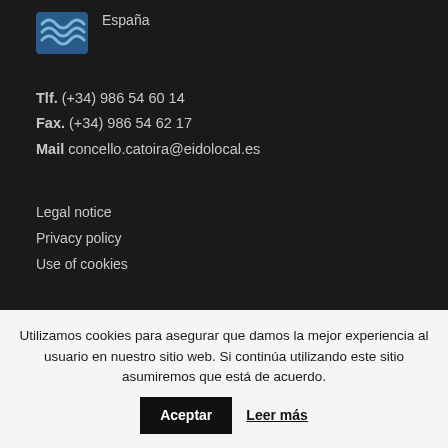España
Tlf. (+34) 986 54 60 14
Fax. (+34) 986 54 62 17
Mail concello.catoira@eidolocal.es
Legal notice
Privacy policy
Use of cookies
Utilizamos cookies para asegurar que damos la mejor experiencia al usuario en nuestro sitio web. Si continúa utilizando este sitio asumiremos que está de acuerdo.
Aceptar
Leer más